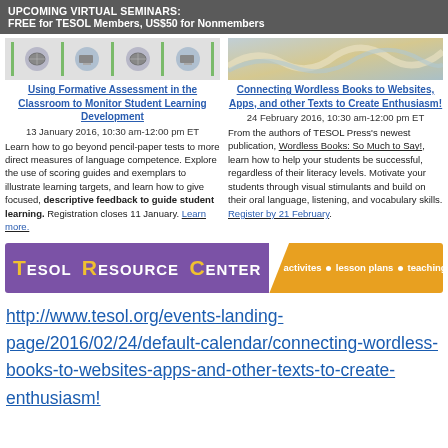UPCOMING VIRTUAL SEMINARS:
FREE for TESOL Members, US$50 for Nonmembers
[Figure (illustration): Strip of globe and computer icons with green vertical bars, left seminar]
Using Formative Assessment in the Classroom to Monitor Student Learning Development
13 January 2016, 10:30 am-12:00 pm ET
Learn how to go beyond pencil-paper tests to more direct measures of language competence. Explore the use of scoring guides and exemplars to illustrate learning targets, and learn how to give focused, descriptive feedback to guide student learning. Registration closes 11 January. Learn more.
[Figure (illustration): Abstract wavy book/paper decorative image, right seminar]
Connecting Wordless Books to Websites, Apps, and other Texts to Create Enthusiasm!
24 February 2016, 10:30 am-12:00 pm ET
From the authors of TESOL Press's newest publication, Wordless Books: So Much to Say!, learn how to help your students be successful, regardless of their literacy levels. Motivate your students through visual stimulants and build on their oral language, listening, and vocabulary skills. Register by 21 February.
[Figure (logo): TESOL Resource Center banner with purple and orange/gold colors. Text: TESOL RESOURCE CENTER | activites • lesson plans • teaching tips]
http://www.tesol.org/events-landing-page/2016/02/24/default-calendar/connecting-wordless-books-to-websites-apps-and-other-texts-to-create-enthusiasm!